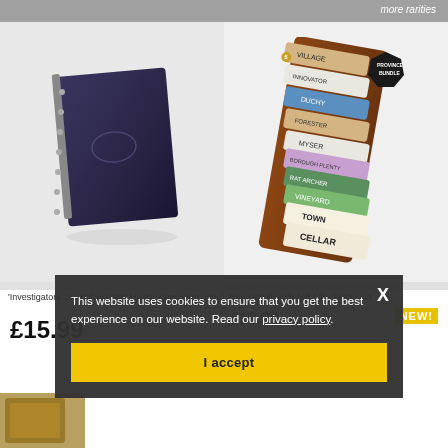more rarities
[Figure (photo): Dark navy blue spiral-bound notebook / journal product photo on light gray background]
[Figure (photo): Dominion Province Bundle card game product photo showing stacked colorful game cards with a Province Bundle badge, on light background]
'Investigators Journal' Arkham Horror Campaign Log | Province Bundle (All 14) - Dominion
NEW!
£15.99
£19.99
This website uses cookies to ensure that you get the best experience on our website. Read our privacy policy.
I accept
[Figure (photo): Partial view of another product image at bottom left corner]